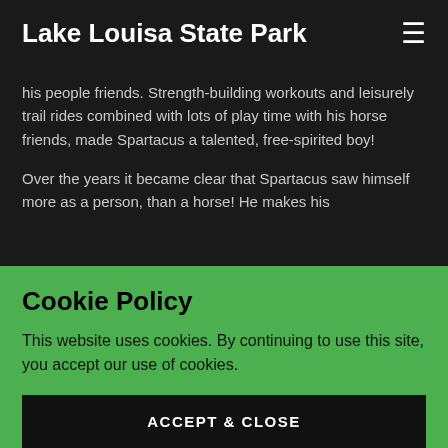Lake Louisa State Park
his people friends. Strength-building workouts and leisurely trail rides combined with lots of play time with his horse friends, made Spartacus a talented, free-spirited boy!
Over the years it became clear that Spartacus saw himself more as a person, than a horse! He makes his
Cookie Policy
This website uses cookies. By continuing to use this site, you accept our use of cookies.
ACCEPT & CLOSE